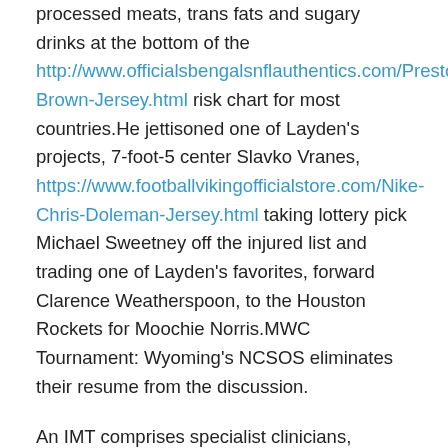processed meats, trans fats and sugary drinks at the bottom of the http://www.officialsbengalsnflauthentics.com/Preston-Brown-Jersey.html risk chart for most countries.He jettisoned one of Layden’s projects, 7-foot-5 center Slavko Vranes, https://www.footballvikingofficialstore.com/Nike-Chris-Doleman-Jersey.html taking lottery pick Michael Sweetney off the injured list and trading one of Layden’s favorites, forward Clarence Weatherspoon, to the Houston Rockets for Moochie Norris.MWC Tournament: Wyoming’s NCSOS eliminates their resume from the discussion.
An IMT comprises specialist clinicians, infection control doctors and nurses, occupational health clinicians and colleagues from estates and facilities.When the Flames’ best player wasn’t feuding with paying Authentic Mens Chris Doleman Jersey patrons, he and the Sharks players were exchanging jabs and insults.Tougher Kings ready to